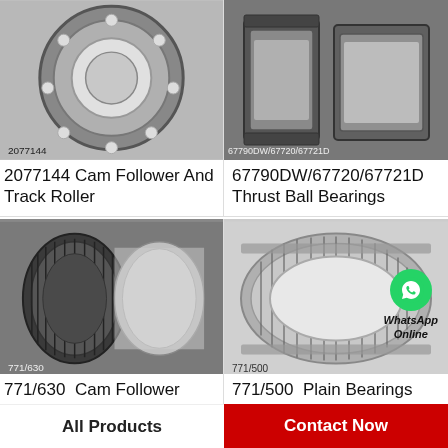[Figure (photo): Photo of 2077144 cam follower and track roller bearing, labeled '2077144' at bottom left]
2077144 Cam Follower And Track Roller
[Figure (photo): Photo of 67790DW/67720/67721D thrust ball bearings, labeled '67790DW/67720/67721D' at bottom left]
67790DW/67720/67720/67721D Thrust Ball Bearings
[Figure (photo): Photo of 771/630 cam follower bearings (two cylindrical needle roller bearings), labeled '771/630' at bottom left]
771/630  Cam Follower
[Figure (photo): Photo of 771/500 plain bearing (large cylindrical needle roller bearing) with WhatsApp Online overlay, labeled '771/500' at bottom left]
771/500  Plain Bearings
All Products
Contact Now